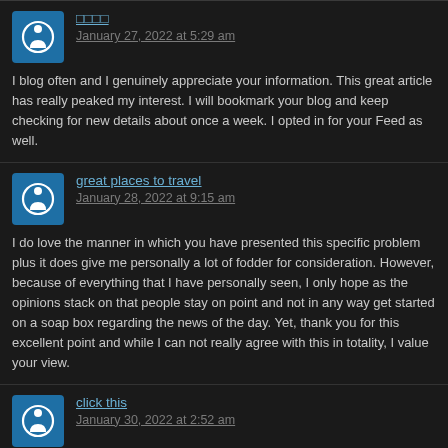（日本語文字） January 27, 2022 at 5:29 am
I blog often and I genuinely appreciate your information. This great article has really peaked my interest. I will bookmark your blog and keep checking for new details about once a week. I opted in for your Feed as well.
great places to travel January 28, 2022 at 9:15 am
I do love the manner in which you have presented this specific problem plus it does give me personally a lot of fodder for consideration. However, because of everything that I have personally seen, I only hope as the opinions stack on that people stay on point and not in any way get started on a soap box regarding the news of the day. Yet, thank you for this excellent point and while I can not really agree with this in totality, I value your view.
click this January 30, 2022 at 2:52 am
Good write-up, I am regular visitor of one's website, maintain up the nice operate, going to be a regular visitor for a long time.